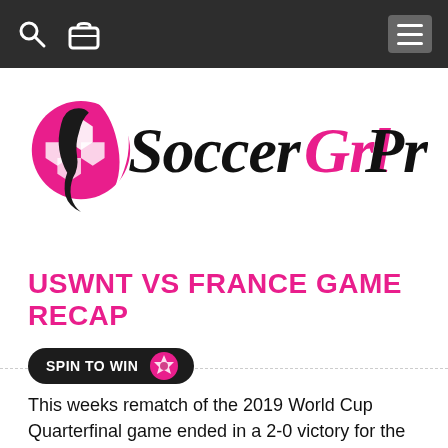Navigation bar with search icon, bag icon, and menu button
[Figure (logo): SoccerGrlProbs logo: pink soccer ball with female silhouette on left, 'SoccerGrlProbs' stylized text on right in black and pink script/handwritten font]
USWNT VS FRANCE GAME RECAP
[Figure (other): Spin to Win banner button with soccer ball icon, dark rounded pill shape]
This weeks rematch of the 2019 World Cup Quarterfinal game ended in a 2-0 victory for the United States vs France. Both goals came in the first half from veteran players Megan Rapinoe and